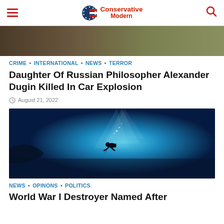Conservative Modern
[Figure (photo): Top partial image strip showing outdoor scene with earth tones]
CRIME • INTERNATIONAL • NEWS • TERROR
Daughter Of Russian Philosopher Alexander Dugin Killed In Car Explosion
August 21, 2022
[Figure (photo): Underwater photo of a scuba diver silhouetted against deep blue water with light rays]
NEWS • OPINONS • POLITICS
World War I Destroyer Named After